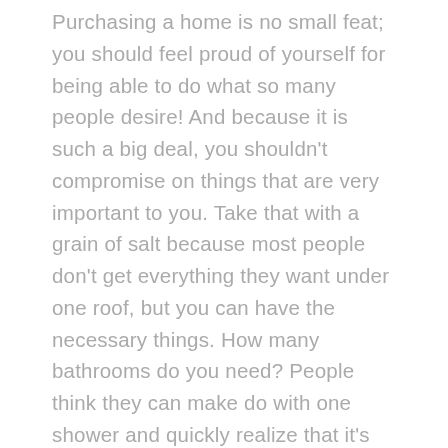Purchasing a home is no small feat; you should feel proud of yourself for being able to do what so many people desire! And because it is such a big deal, you shouldn't compromise on things that are very important to you. Take that with a grain of salt because most people don't get everything they want under one roof, but you can have the necessary things. How many bathrooms do you need? People think they can make do with one shower and quickly realize that it's hard to live with multiple people with only one shower. Do you require office space? You'll want to ensure you have an extra room for this, or maybe you'd prefer a den. Do you need to live in a particular neighbourhood for your kids to